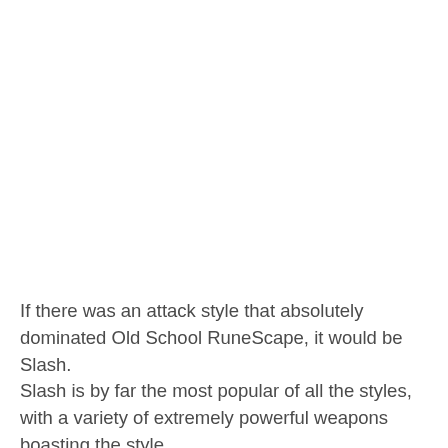If there was an attack style that absolutely dominated Old School RuneScape, it would be Slash.
Slash is by far the most popular of all the styles, with a variety of extremely powerful weapons boasting the style.